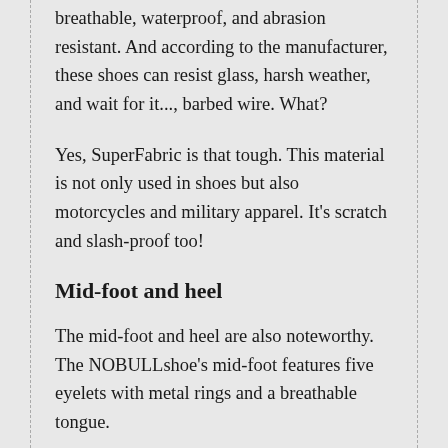breathable, waterproof, and abrasion resistant. And according to the manufacturer, these shoes can resist glass, harsh weather, and wait for it..., barbed wire. What?
Yes, SuperFabric is that tough. This material is not only used in shoes but also motorcycles and military apparel. It's scratch and slash-proof too!
Mid-foot and heel
The mid-foot and heel are also noteworthy. The NOBULLshoe's mid-foot features five eyelets with metal rings and a breathable tongue.